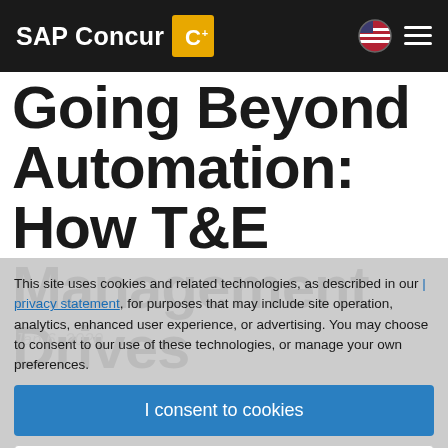SAP Concur
Going Beyond Automation: How T&E Management Drives Business Value
Jan 6, 2020
This site uses cookies and related technologies, as described in our privacy statement, for purposes that may include site operation, analytics, enhanced user experience, or advertising. You may choose to consent to our use of these technologies, or manage your own preferences.
I consent to cookies
More Information
| Privacy Policy